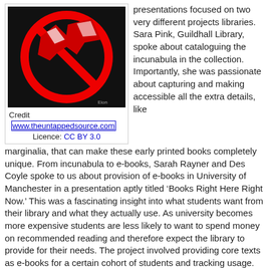[Figure (illustration): Black background graphic showing two red and white bird/arrow shapes inside a red circle with a diagonal red line through them (no symbol / prohibited symbol style), resembling a 'no birds' or abstract prohibition sign.]
Credit  www.theuntappedsource.com
Licence: CC BY 3.0
presentations focused on two very different projects libraries. Sara Pink, Guildhall Library, spoke about cataloguing the incunabula in the collection. Importantly, she was passionate about capturing and making accessible all the extra details, like marginalia, that can make these early printed books completely unique. From incunabula to e-books, Sarah Rayner and Des Coyle spoke to us about provision of e-books in University of Manchester in a presentation aptly titled ‘Books Right Here Right Now.’ This was a fascinating insight into what students want from their library and what they actually use. As university becomes more expensive students are less likely to want to spend money on recommended reading and therefore expect the library to provide for their needs. The project involved providing core texts as e-books for a certain cohort of students and tracking usage. There were interesting findings, for example, more